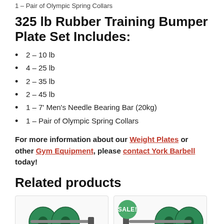1 – Pair of Olympic Spring Collars
325 lb Rubber Training Bumper Plate Set Includes:
2 – 10 lb
4 – 25 lb
2 – 35 lb
2 – 45 lb
1 – 7' Men's Needle Bearing Bar (20kg)
1 – Pair of Olympic Spring Collars
For more information about our Weight Plates or other Gym Equipment, please contact York Barbell today!
Related products
[Figure (photo): Weight plate set with green and yellow bumper plates on a barbell]
[Figure (photo): Weight plate set with SALE badge, showing bumper plates on a barbell]